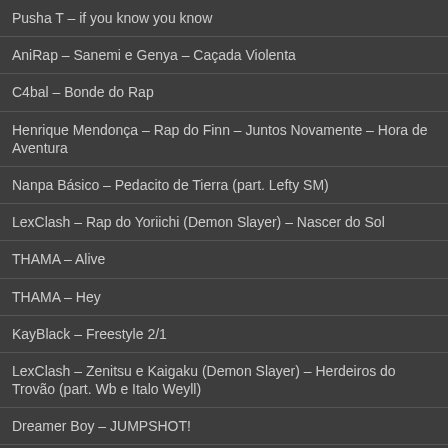Pusha T – if you know you know
AniRap – Sanemi e Genya – Caçada Violenta
C4bal – Bonde do Rap
Henrique Mendonça – Rap do Finn – Juntos Novamente – Hora de Aventura
Nanpa Básico – Pedacito de Tierra (part. Lefty SM)
LexClash – Rap do Yoriichi (Demon Slayer) – Nascer do Sol
THAMA – Alive
THAMA – Hey
KayBlack – Freestyle 2/1
LexClash – Zenitsu e Kaigaku (Demon Slayer) – Herdeiros do Trovão (part. Wb e Italo Weyll)
Dreamer Boy – JUMPSHOT!
Alice Guél – Mente Em Chamas (part. Iara Villas Boas)
Fiitu – Não Foi Amor
Fiitu – latin